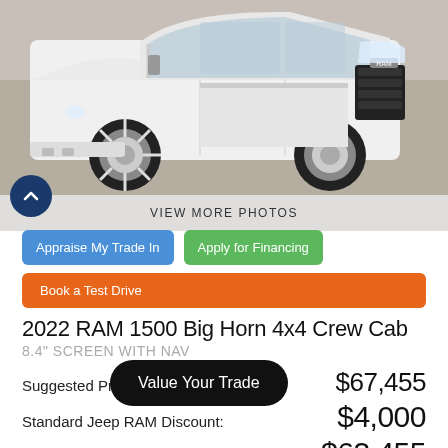[Figure (photo): White 2022 RAM 1500 Big Horn 4x4 Crew Cab truck photographed from the front-left angle in a parking lot]
VIEW MORE PHOTOS
Appraise My Trade In
Apply for Financing
Book a Test Drive
2022 RAM 1500 Big Horn 4x4 Crew Cab
8.4" SCREEN WITH NAV
Value Your Trade
Suggested Price: $67,455
Standard Jeep RAM Discount: $4,000
Our Price: $63,455